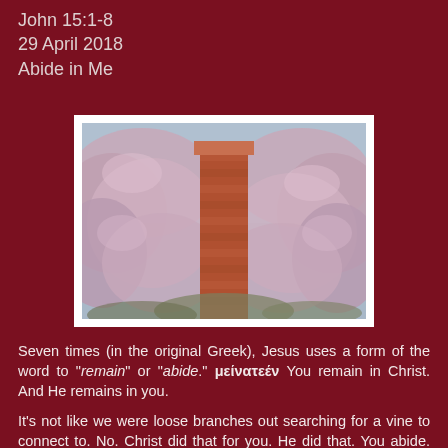John 15:1-8
29 April 2018
Abide in Me
[Figure (photo): Photograph of a weeping cherry tree in full bloom with pink flowers cascading down, alongside a brick pillar/column, taken in spring.]
Seven times (in the original Greek), Jesus uses a form of the word to "remain" or "abide." μείνατεέν You remain in Christ. And He remains in you.
It's not like we were loose branches out searching for a vine to connect to. No. Christ did that for you. He did that. You abide. We were dead branches destined for fire, but in loved